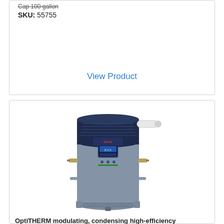SKU: 55755
View Product
[Figure (photo): Photo of an OptiTHERM modulating condensing high-efficiency water heater. The unit is a tall cylindrical tank in gray with a dark navy blue upper section featuring a control panel display and venting. A white exhaust/intake pipe extends from the right side at the top. Brass fittings and connection pipes are visible on the sides.]
OptiTHERM modulating, condensing high-efficiency